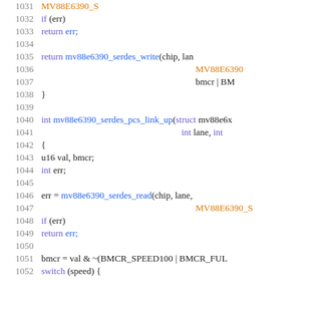Source code listing, lines 1031-1052, C kernel driver code for mv88e6390 serdes PCS link functions